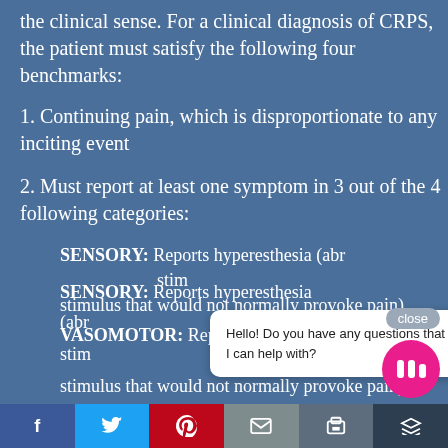the clinical sense. For a clinical diagnosis of CRPS, the patient must satisfy the following four benchmarks:
1. Continuing pain, which is disproportionate to any inciting event
2. Must report at least one symptom in 3 out of the 4 following categories:
SENSORY: Reports hyperesthesia (abnormal sensitivity to stimuli) and/or allodynia (pain from a stimulus that would not normally provoke pain)
VASOMOTOR: Reports of temperature
Hello! Do you have any questions that I can help with?